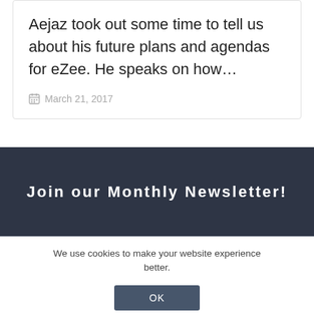Aejaz took out some time to tell us about his future plans and agendas for eZee. He speaks on how…
March 21, 2017
Join our Monthly Newsletter!
We use cookies to make your website experience better.
OK